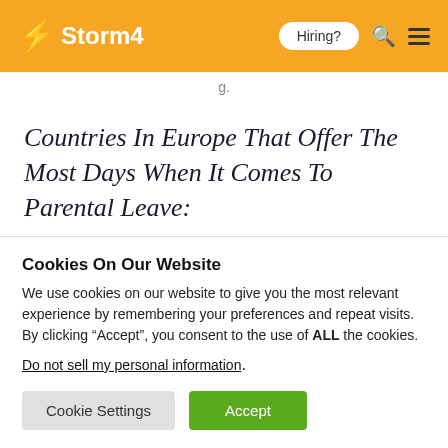Storm4 | Hiring?
Countries In Europe That Offer The Most Days When It Comes To Parental Leave:
Cookies On Our Website
We use cookies on our website to give you the most relevant experience by remembering your preferences and repeat visits. By clicking “Accept”, you consent to the use of ALL the cookies.
Do not sell my personal information.
Cookie Settings | Accept